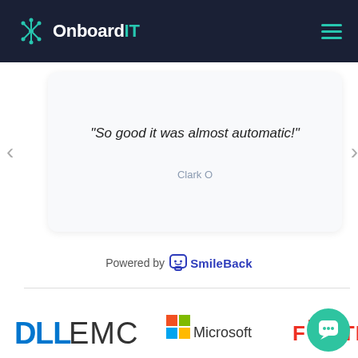OnboardIT
“So good it was almost automatic!”
Clark O
Powered by SmileBack
[Figure (logo): Dell EMC logo]
[Figure (logo): Microsoft logo]
[Figure (logo): Fortinet logo (partially visible)]